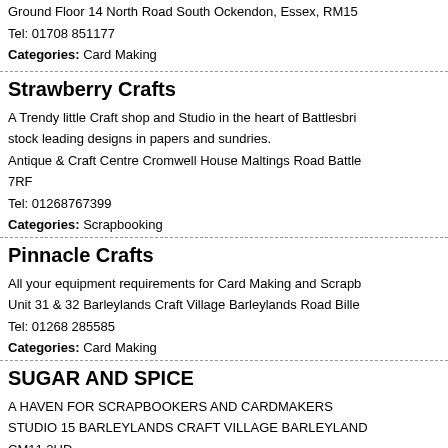Ground Floor 14 North Road South Ockendon, Essex, RM15
Tel: 01708 851177
Categories: Card Making
Strawberry Crafts
A Trendy little Craft shop and Studio in the heart of Battlesbri... stock leading designs in papers and sundries.
Antique & Craft Centre Cromwell House Maltings Road Battle... 7RF
Tel: 01268767399
Categories: Scrapbooking
Pinnacle Crafts
All your equipment requirements for Card Making and Scrapb...
Unit 31 & 32 Barleylands Craft Village Barleylands Road Bille...
Tel: 01268 285585
Categories: Card Making
SUGAR AND SPICE
A HAVEN FOR SCRAPBOOKERS AND CARDMAKERS
STUDIO 15 BARLEYLANDS CRAFT VILLAGE BARLEYLAND... CM11 2UD
Tel: 01268 530933
Categories: Scrapbooking
Back to county list